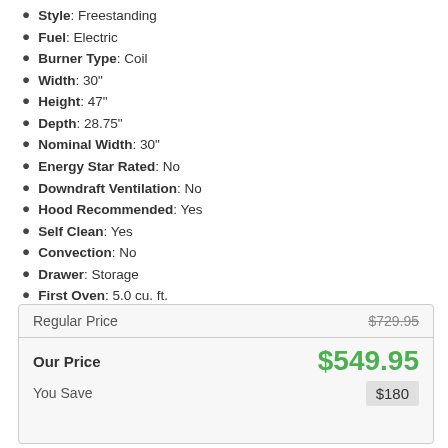Style: Freestanding
Fuel: Electric
Burner Type: Coil
Width: 30"
Height: 47"
Depth: 28.75"
Nominal Width: 30"
Energy Star Rated: No
Downdraft Ventilation: No
Hood Recommended: Yes
Self Clean: Yes
Convection: No
Drawer: Storage
First Oven: 5.0 cu. ft.
Hidden Bake Element: No
Sabbath Mode: Yes
WiFi Connected: No
See More
|  |  |
| --- | --- |
| Regular Price | $729.95 |
| Our Price | $549.95 |
| You Save | $180 |